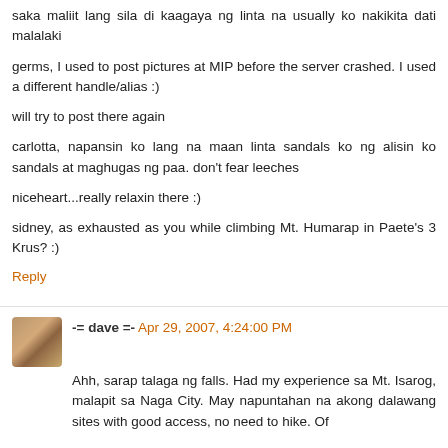saka maliit lang sila di kaagaya ng linta na usually ko nakikita dati malalaki
germs, I used to post pictures at MIP before the server crashed. I used a different handle/alias :)
will try to post there again
carlotta, napansin ko lang na maan linta sandals ko ng alisin ko sandals at maghugas ng paa. don't fear leeches
niceheart...really relaxin there :)
sidney, as exhausted as you while climbing Mt. Humarap in Paete's 3 Krus? :)
Reply
-= dave =- Apr 29, 2007, 4:24:00 PM
Ahh, sarap talaga ng falls. Had my experience sa Mt. Isarog, malapit sa Naga City. May napuntahan na akong dalawang sites with good access, no need to hike. Of